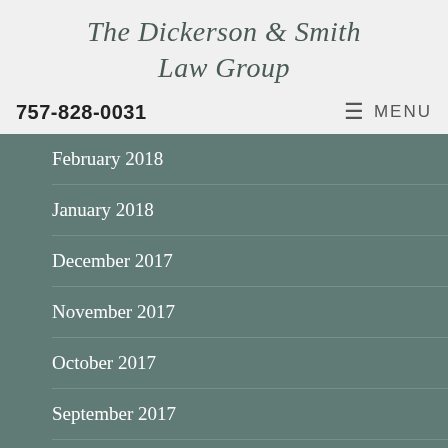The Dickerson & Smith Law Group
757-828-0031
MENU
February 2018
January 2018
December 2017
November 2017
October 2017
September 2017
August 2017
July 2017